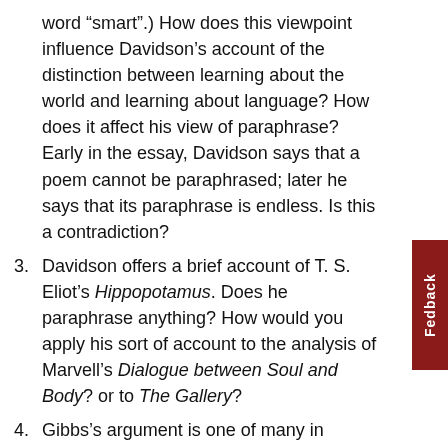word “smart”.) How does this viewpoint influence Davidson’s account of the distinction between learning about the world and learning about language? How does it affect his view of paraphrase? Early in the essay, Davidson says that a poem cannot be paraphrased; later he says that its paraphrase is endless. Is this a contradiction?
3. Davidson offers a brief account of T. S. Eliot’s Hippopotamus. Does he paraphrase anything? How would you apply his sort of account to the analysis of Marvell’s Dialogue between Soul and Body? or to The Gallery?
4. Gibbs’s argument is one of many in cognitive linguists which argues against the notion that the semantics of language are based upon a hard core of literal meanings; it is therefore, by implication, an attack upon Davidson’s view. How compelling is Gibbs’s case? How would